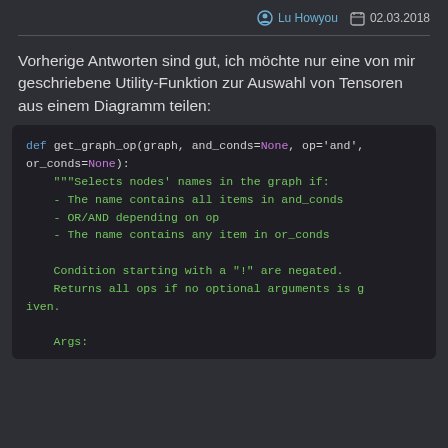Lu Howyou  02.03.2018
Vorherige Antworten sind gut, ich möchte nur eine von mir geschriebene Utility-Funktion zur Auswahl von Tensoren aus einem Diagramm teilen:
[Figure (screenshot): Code block showing a Python function def get_graph_op(graph, and_conds=None, op='and', or_conds=None): with a docstring describing selecting nodes from a graph based on conditions.]